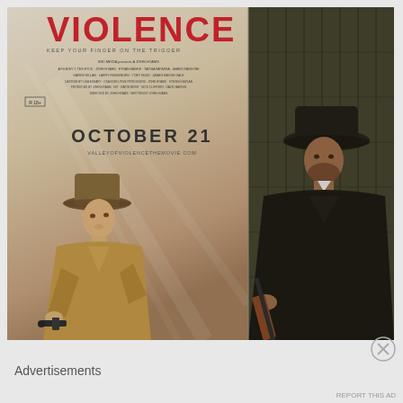[Figure (photo): Movie advertisement for 'Valley of Violence'. Left half shows a movie poster with the title 'VIOLENCE' in large red letters at top, tagline 'KEEP YOUR FINGER ON THE TRIGGER', film credits in small text, release date 'OCTOBER 21', website 'VALLEYOFVIOLENCETHEMOVIE.COM', and a cowboy figure in a tan hat holding a revolver. Right half shows a behind-the-scenes photo of a man in a dark coat and fedora hat, holding a rifle, leaning against a wooden wall.]
Advertisements